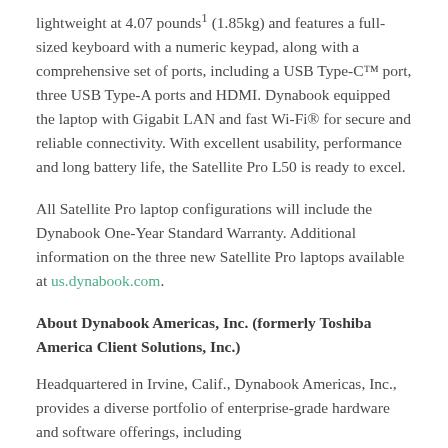lightweight at 4.07 pounds¹ (1.85kg) and features a full-sized keyboard with a numeric keypad, along with a comprehensive set of ports, including a USB Type-C™ port, three USB Type-A ports and HDMI. Dynabook equipped the laptop with Gigabit LAN and fast Wi-Fi® for secure and reliable connectivity. With excellent usability, performance and long battery life, the Satellite Pro L50 is ready to excel.
All Satellite Pro laptop configurations will include the Dynabook One-Year Standard Warranty. Additional information on the three new Satellite Pro laptops available at us.dynabook.com.
About Dynabook Americas, Inc. (formerly Toshiba America Client Solutions, Inc.)
Headquartered in Irvine, Calif., Dynabook Americas, Inc., provides a diverse portfolio of enterprise-grade hardware and software offerings, including